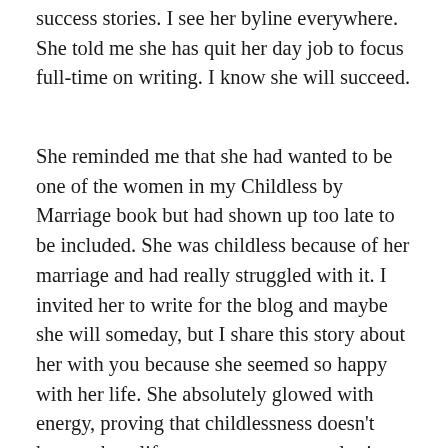success stories. I see her byline everywhere. She told me she has quit her day job to focus full-time on writing. I know she will succeed.
She reminded me that she had wanted to be one of the women in my Childless by Marriage book but had shown up too late to be included. She was childless because of her marriage and had really struggled with it. I invited her to write for the blog and maybe she will someday, but I share this story about her with you because she seemed so happy with her life. She absolutely glowed with energy, proving that childlessness doesn't have to be a life sentence to perpetual misery.
…